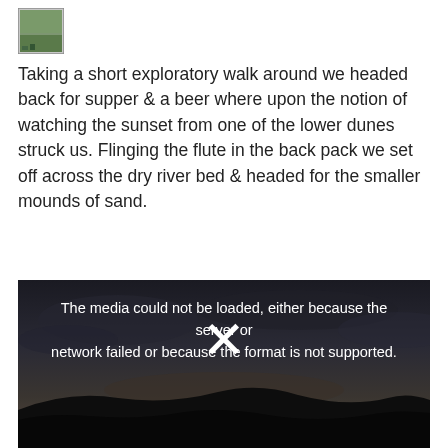[Figure (other): Small thumbnail icon of a landscape/nature image, appearing broken or partially loaded]
Taking a short exploratory walk around we headed back for supper & a beer where upon the notion of watching the sunset from one of the lower dunes struck us. Flinging the flute in the back pack we set off across the dry river bed & headed for the smaller mounds of sand.
[Figure (other): Video player showing a dark landscape/sunset scene with an error message: 'The media could not be loaded, either because the server or network failed or because the format is not supported.' and an X icon in the center.]